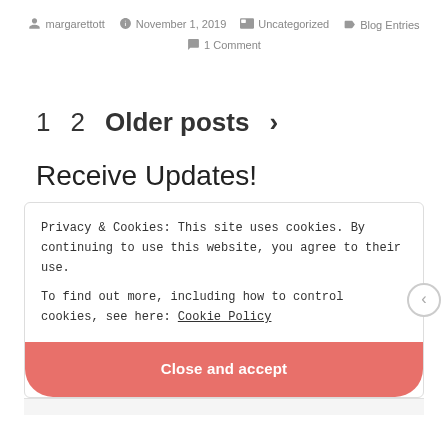margarettott  November 1, 2019  Uncategorized  Blog Entries  1 Comment
1  2  Older posts >
Receive Updates!
Privacy & Cookies: This site uses cookies. By continuing to use this website, you agree to their use.
To find out more, including how to control cookies, see here: Cookie Policy
Close and accept